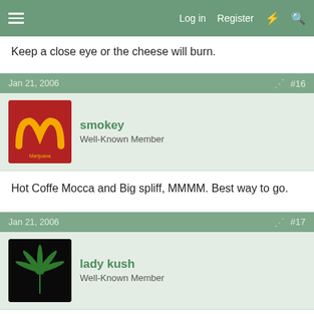Log in  Register
Keep a close eye or the cheese will burn.
Jan 21, 2006  #16
smokey
Well-Known Member
Hot Coffe Mocca and Big spliff, MMMM. Best way to go.
Jan 21, 2006  #17
lady kush
Well-Known Member
Taco's with lots of cheese and lettuce or White Castle Hambergers...mmmmm the best on the run 🙂